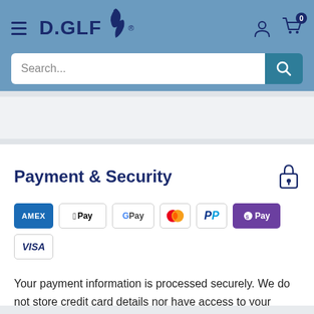[Figure (logo): D.GOLF logo with golfer silhouette and registered trademark symbol, in dark blue and red on blue header background]
[Figure (screenshot): Search bar with text 'Search...' and teal search button with magnifying glass icon]
Payment & Security
[Figure (infographic): Payment method badges: AMEX, Apple Pay, Google Pay, Mastercard, PayPal, Shop Pay, VISA]
Your payment information is processed securely. We do not store credit card details nor have access to your credit card information.